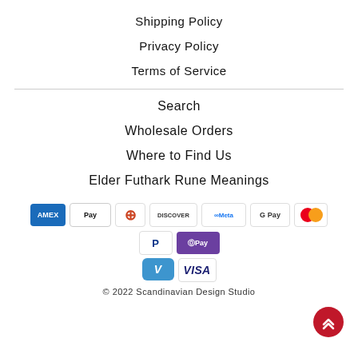Shipping Policy
Privacy Policy
Terms of Service
Search
Wholesale Orders
Where to Find Us
Elder Futhark Rune Meanings
[Figure (other): Payment method icons: American Express, Apple Pay, Diners Club, Discover, Meta Pay, Google Pay, Mastercard, PayPal, ShopPay, Venmo, Visa]
© 2022 Scandinavian Design Studio